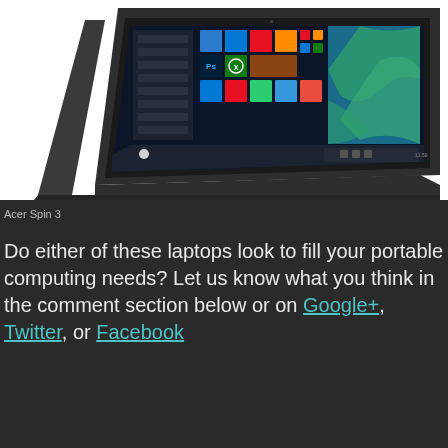[Figure (photo): Acer Spin 3 laptop in tent mode showing Windows 10 Start menu with colorful tiles and a map wallpaper on the screen, dark gray chassis]
Acer Spin 3
Do either of these laptops look to fill your portable computing needs? Let us know what you think in the comment section below or on Google+, Twitter, or Facebook